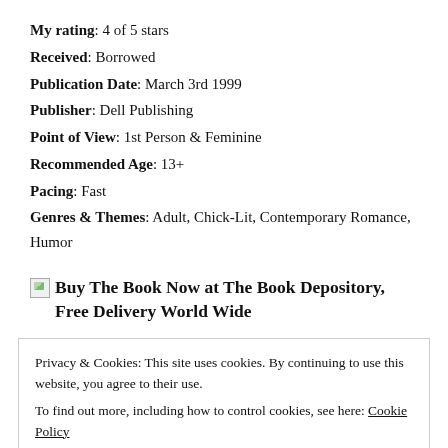My rating: 4 of 5 stars
Received: Borrowed
Publication Date: March 3rd 1999
Publisher: Dell Publishing
Point of View: 1st Person & Feminine
Recommended Age: 13+
Pacing: Fast
Genres & Themes: Adult, Chick-Lit, Contemporary Romance, Humor
[image] Buy The Book Now at The Book Depository, Free Delivery World Wide
Privacy & Cookies: This site uses cookies. By continuing to use this website, you agree to their use.
To find out more, including how to control cookies, see here: Cookie Policy
[Close and accept]
HEROINE WITH A BIG HEART, BIG DREAMS … AND